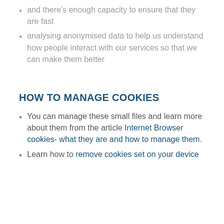and there's enough capacity to ensure that they are fast
analysing anonymised data to help us understand how people interact with our services so that we can make them better
HOW TO MANAGE COOKIES
You can manage these small files and learn more about them from the article Internet Browser cookies- what they are and how to manage them.
Learn how to remove cookies set on your device